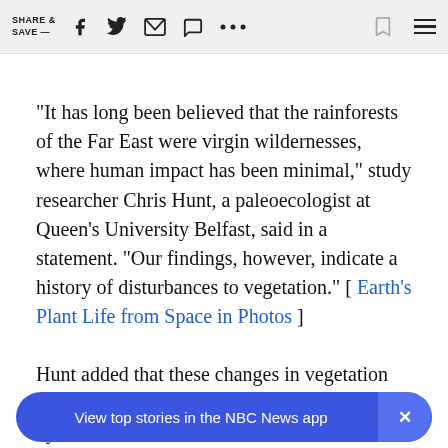SHARE & SAVE —  [social icons: Facebook, Twitter, Email, Comment, More, Bookmark, Menu]
"It has long been believed that the rainforests of the Far East were virgin wildernesses, where human impact has been minimal," study researcher Chris Hunt, a paleoecologist at Queen's University Belfast, said in a statement. "Our findings, however, indicate a history of disturbances to vegetation." [ Earth's Plant Life from Space in Photos ]
Hunt added that these changes in vegetation do not coi...ut rathe... have been brought about by the actions of ...